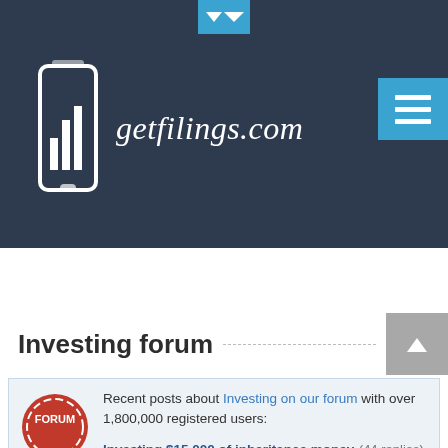getfilings.com
Investing forum
Recent posts about Investing on our forum with over 1,800,000 registered users:
Investing $15,000 of inheritance money (44 replies)